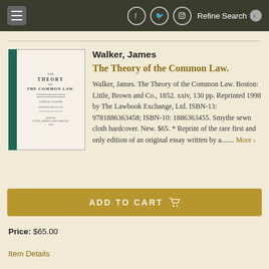Walker, James — The Theory of the Common Law — Refine Search
[Figure (illustration): Book cover showing a green cloth hardcover of 'The Theory of the Common Law' with spine and title page visible]
Walker, James
The Theory of the Common Law.
Walker, James. The Theory of the Common Law. Boston: Little, Brown and Co., 1852. xxiv, 130 pp. Reprinted 1998 by The Lawbook Exchange, Ltd. ISBN-13: 9781886363458; ISBN-10: 1886363455. Smythe sewn cloth hardcover. New. $65. * Reprint of the rare first and only edition of an original essay written by a....... More >
ADD TO CART
Price: $65.00
Item Details